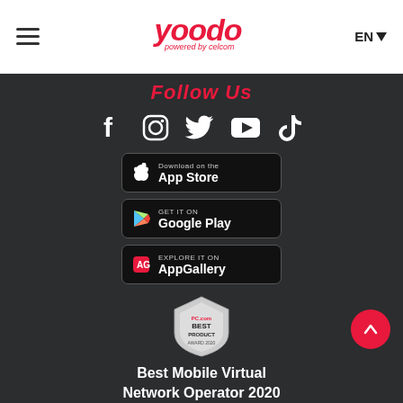yoodo powered by celcom — EN
Follow Us
[Figure (illustration): Social media icons: Facebook, Instagram, Twitter, YouTube, TikTok]
[Figure (illustration): Download on the App Store button]
[Figure (illustration): Get it on Google Play button]
[Figure (illustration): Explore it on AppGallery button]
[Figure (illustration): PC.com Best Product award badge]
Best Mobile Virtual Network Operator 2020
Can't find what you're looking for?
Live Chat